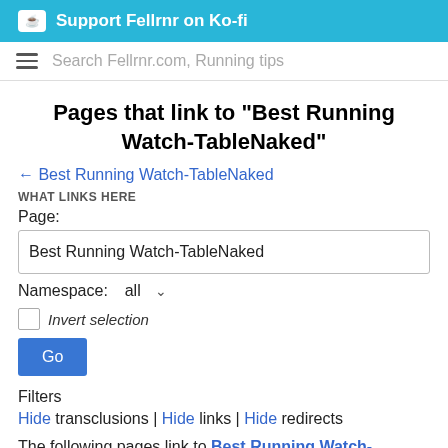Support Fellrnr on Ko-fi
Search Fellrnr.com, Running tips
Pages that link to "Best Running Watch-TableNaked"
← Best Running Watch-TableNaked
WHAT LINKS HERE
Page:
Best Running Watch-TableNaked
Namespace:  all
Invert selection
Go
Filters
Hide transclusions | Hide links | Hide redirects
The following pages link to Best Running Watch-TableNaked: